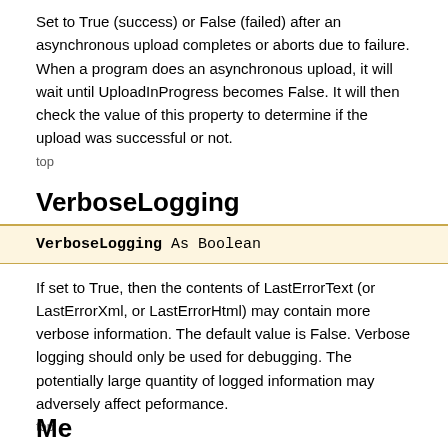Set to True (success) or False (failed) after an asynchronous upload completes or aborts due to failure. When a program does an asynchronous upload, it will wait until UploadInProgress becomes False. It will then check the value of this property to determine if the upload was successful or not.
top
VerboseLogging
VerboseLogging As Boolean
If set to True, then the contents of LastErrorText (or LastErrorXml, or LastErrorHtml) may contain more verbose information. The default value is False. Verbose logging should only be used for debugging. The potentially large quantity of logged information may adversely affect peformance.
top
Me